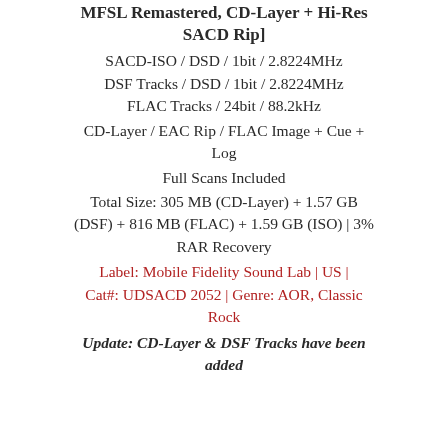MFSL Remastered, CD-Layer + Hi-Res SACD Rip]
SACD-ISO / DSD / 1bit / 2.8224MHz
DSF Tracks / DSD / 1bit / 2.8224MHz
FLAC Tracks / 24bit / 88.2kHz
CD-Layer / EAC Rip / FLAC Image + Cue + Log
Full Scans Included
Total Size: 305 MB (CD-Layer) + 1.57 GB (DSF) + 816 MB (FLAC) + 1.59 GB (ISO) | 3% RAR Recovery
Label: Mobile Fidelity Sound Lab | US | Cat#: UDSACD 2052 | Genre: AOR, Classic Rock
Update: CD-Layer & DSF Tracks have been added